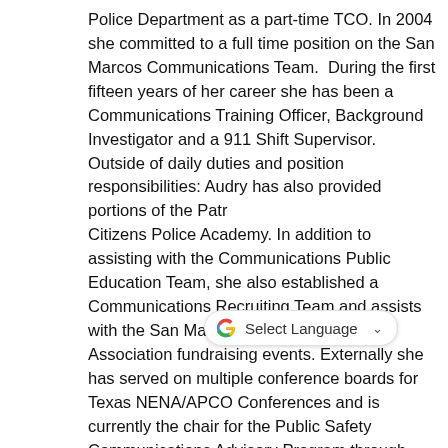Police Department as a part-time TCO. In 2004 she committed to a full time position on the San Marcos Communications Team.  During the first fifteen years of her career she has been a Communications Training Officer, Background Investigator and a 911 Shift Supervisor. Outside of daily duties and position responsibilities: Audry has also provided portions of the Patr[ol/ol] Citizens Police Academy. In addition to assisting with the Communications Public Education Team, she also established a Communications Recruiting Team and assists with the San Marcos Police Officers Association fundraising events. Externally she has served on multiple conference boards for Texas NENA/APCO Conferences and is currently the chair for the Public Safety Communications Advisory Program through Texas NENA. As of September 2018 Audry has taken the role of the Support Services Manager for the San Marcos Police Department. With the new position and responsibilities Audry plans to assist both the communications and records team in maintaining high customer service standards as well as reaching their individual goals. Public